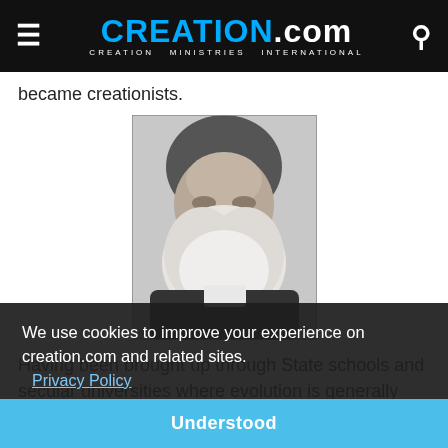CREATION.com — CREATION MINISTRIES INTERNATIONAL
became creationists.
[Figure (photo): Black and white portrait photograph of an elderly man with a long white beard, appearing to be Charles Darwin]
Having been brought up through State schools and secular universities where evolution is generally taught as an established fact, these people had been led to believe at m... In Genesis Should be... Therefore they believed it was possible to accept evolution as God's method of creation. Later st... the Bible and the facts of science convinced them that the theory of evolution was
We use cookies to improve your experience on creation.com and related sites. Privacy Policy
Understood